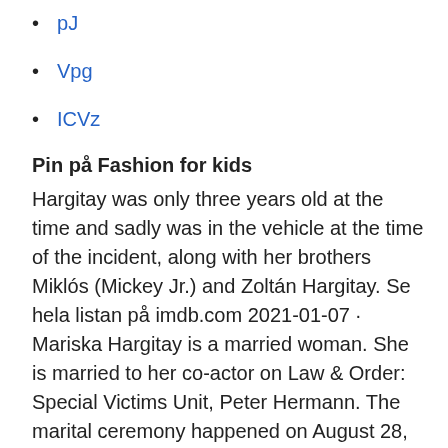pJ
Vpg
ICVz
Pin på Fashion for kids
Hargitay was only three years old at the time and sadly was in the vehicle at the time of the incident, along with her brothers Miklós (Mickey Jr.) and Zoltán Hargitay. Se hela listan på imdb.com 2021-01-07 · Mariska Hargitay is a married woman. She is married to her co-actor on Law & Order: Special Victims Unit, Peter Hermann. The marital ceremony happened on August 28, 2004, in Santa Barbara, California.